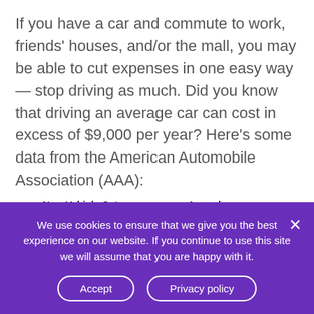If you have a car and commute to work, friends' houses, and/or the mall, you may be able to cut expenses in one easy way — stop driving as much. Did you know that driving an average car can cost in excess of $9,000 per year? Here's some data from the American Automobile Association (AAA):
| New Vehicle Category | Annual Cost |
| --- | --- |
We use cookies to ensure that we give you the best experience on our website. If you continue to use this site we will assume that you are happy with it.